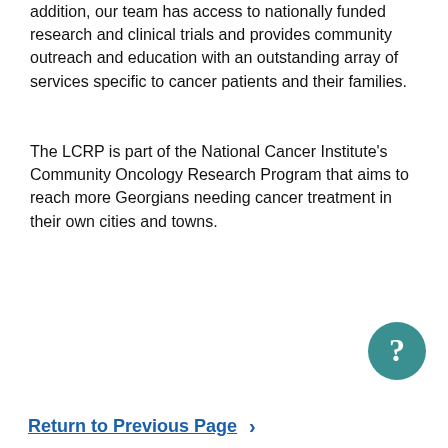addition, our team has access to nationally funded research and clinical trials and provides community outreach and education with an outstanding array of services specific to cancer patients and their families.
The LCRP is part of the National Cancer Institute's Community Oncology Research Program that aims to reach more Georgians needing cancer treatment in their own cities and towns.
[Figure (other): Teal circular help button with a white question mark]
Return to Previous Page ›